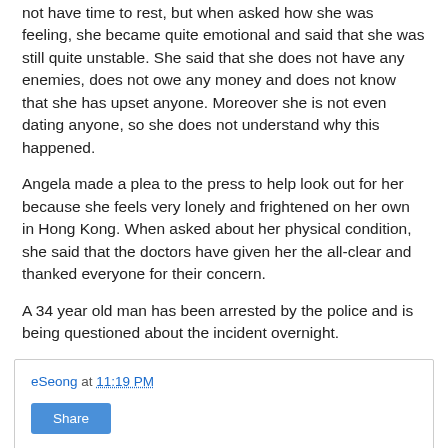not have time to rest, but when asked how she was feeling, she became quite emotional and said that she was still quite unstable. She said that she does not have any enemies, does not owe any money and does not know that she has upset anyone. Moreover she is not even dating anyone, so she does not understand why this happened.
Angela made a plea to the press to help look out for her because she feels very lonely and frightened on her own in Hong Kong. When asked about her physical condition, she said that the doctors have given her the all-clear and thanked everyone for their concern.
A 34 year old man has been arrested by the police and is being questioned about the incident overnight.
eSeong at 11:19 PM
Share
No comments: